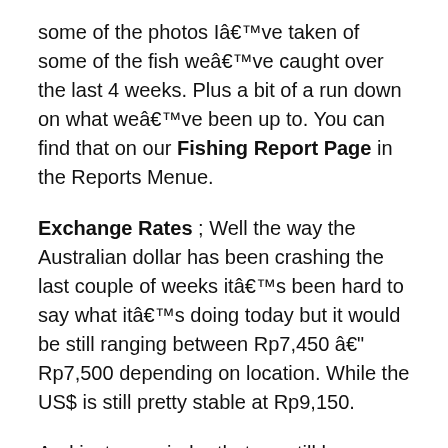some of the photos I've taken of some of the fish we've caught over the last 4 weeks. Plus a bit of a run down on what we've been up to. You can find that on our Fishing Report Page in the Reports Menue.
Exchange Rates ; Well the way the Australian dollar has been crashing the last couple of weeks it's been hard to say what it's doing today but it would be still ranging between Rp7,450 – Rp7,500 depending on location. While the US$ is still pretty stable at Rp9,150.
And just a reminder that we still have some original baliwaves.com T-Shirts (AU$13.00) and FREE stickers available for ya's here in Bali so drop me a line.
Don't forget if any of you lot want to grab some photos or video footage surfing here in Bali and we can